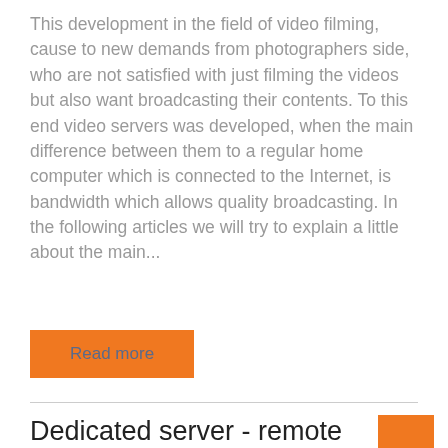This development in the field of video filming, cause to new demands from photographers side, who are not satisfied with just filming the videos but also want broadcasting their contents. To this end video servers was developed, when the main difference between them to a regular home computer which is connected to the Internet, is bandwidth which allows quality broadcasting. In the following articles we will try to explain a little about the main...
Read more
Dedicated server - remote